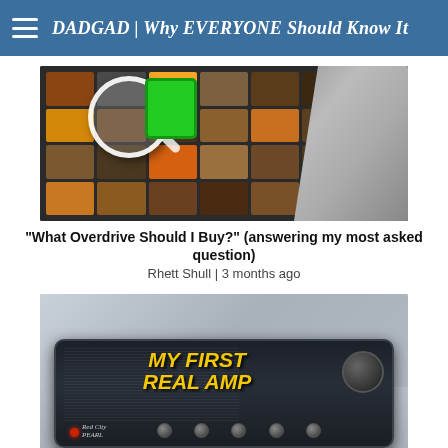DADGAD | Why EVERYONE Should Know It
[Figure (screenshot): Thumbnail showing guitar pedal board with magnifying glass overlay and green pedal highlighted, person visible on right]
"What Overdrive Should I Buy?" (answering my most asked question)
Rhett Shull | 3 months ago
[Figure (photo): Thumbnail showing amplifier head with text MY FIRST REAL AMP in yellow, Red City Pearl amp brand, person in background]
My First "REAL" Amp (would I buy it again?)
Rhett Shull | 3 months ago
[Figure (screenshot): Partial thumbnail showing BASSLINES text in red at bottom]